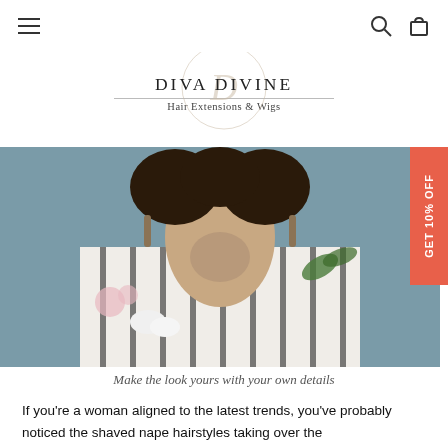Navigation bar with hamburger menu, search icon, and cart icon
DIVA DIVINE
Hair Extensions & Wigs
[Figure (photo): Back view of a woman with shaved nape hairstyle, wearing a floral and striped jacket, with decorative earrings. A red badge reads GET 10% OFF on the right side.]
Make the look yours with your own details
If you're a woman aligned to the latest trends, you've probably noticed the shaved nape hairstyles taking over the